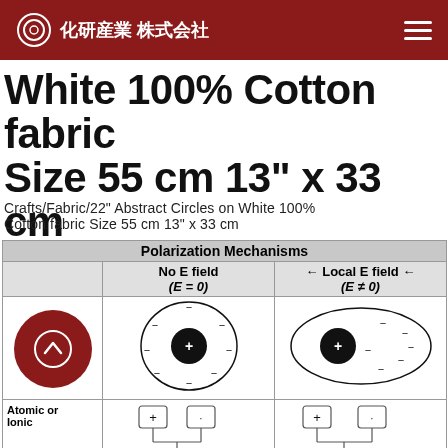化研産業 株式会社
White 100% Cotton fabric Size 55 cm 13" x 33 cm
Crafts/Fabric/22" Abstract Circles on White 100% Cotton fabric Size 55 cm 13" x 33 cm
|  | No E field (E = 0) | ← Local E field ← (E ≠ 0) |
| --- | --- | --- |
| Electronic (E...) | [circle diagram with + center and - charges] | [ellipse diagram with + center and scattered - charges] |
| Atomic or Ionic | [two atoms with + boxes connected] | [two atoms with + boxes connected] |